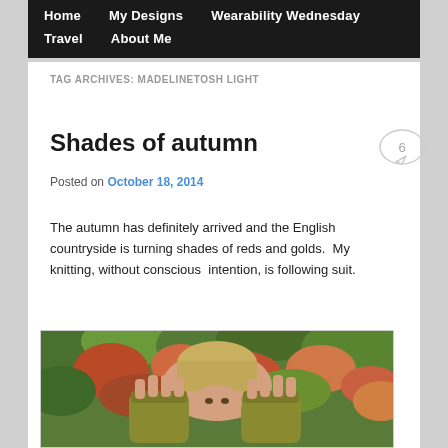Home   My Designs   Wearability Wednesday   Travel   About Me
TAG ARCHIVES: MADELINETOSH LIGHT
Shades of autumn
Posted on October 18, 2014
The autumn has definitely arrived and the English countryside is turning shades of reds and golds.  My knitting, without conscious  intention, is following suit.
[Figure (photo): Person holding up hands wearing olive/mustard colored fingerless knitting mitts, with autumn foliage (reds, greens, oranges) in the background. The person's face is partially hidden behind their raised hands.]